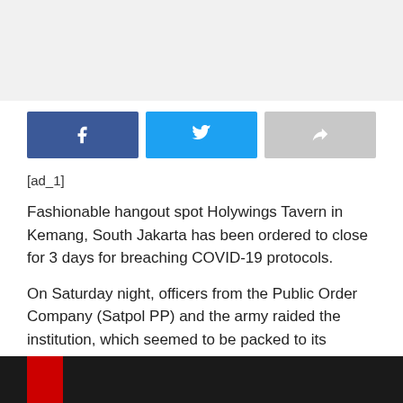[Figure (other): Gray banner/advertisement area at top of page]
[Figure (infographic): Social sharing buttons: Facebook (blue), Twitter (light blue), Share (gray)]
[ad_1]
Fashionable hangout spot Holywings Tavern in Kemang, South Jakarta has been ordered to close for 3 days for breaching COVID-19 protocols.
On Saturday night, officers from the Public Order Company (Satpol PP) and the army raided the institution, which seemed to be packed to its absolute restrict even with patrons streaming out of the venue because the raid started.
[Figure (photo): Partial dark/black image visible at bottom of page with red accent on left]